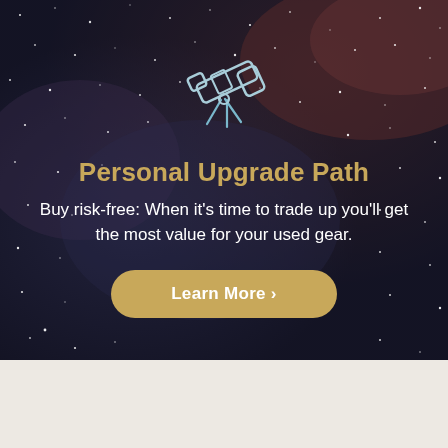[Figure (illustration): Telescope icon in light blue/white outline style on dark starfield background]
Personal Upgrade Path
Buy risk-free: When it’s time to trade up you’ll get the most value for your used gear.
Learn More ›